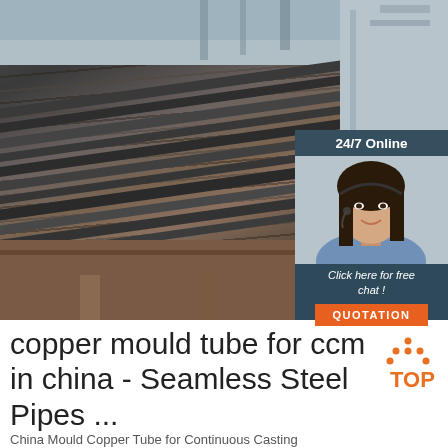[Figure (photo): Stack of dark steel plates/flat bars in an industrial yard, with a 24/7 online chat support panel overlay in the top-right corner showing a female customer service representative wearing a headset, with 'Click here for free chat!' text and an orange QUOTATION button]
copper mould tube for ccm in china - Seamless Steel Pipes ...
China Mould Copper Tube for Continuous Casting